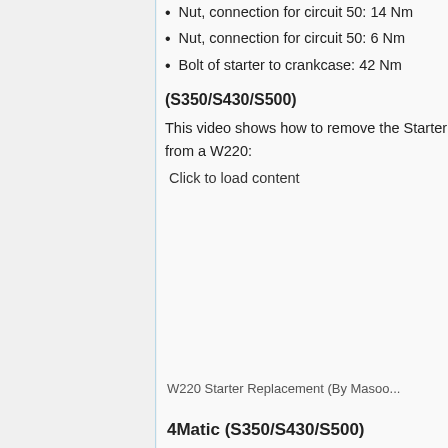Nut, connection for circuit 50: 14 Nm
Nut, connection for circuit 50: 6 Nm
Bolt of starter to crankcase: 42 Nm
(S350/S430/S500)
This video shows how to remove the Starter from a W220:
Click to load content
W220 Starter Replacement (By Masoo...
4Matic (S350/S430/S500)